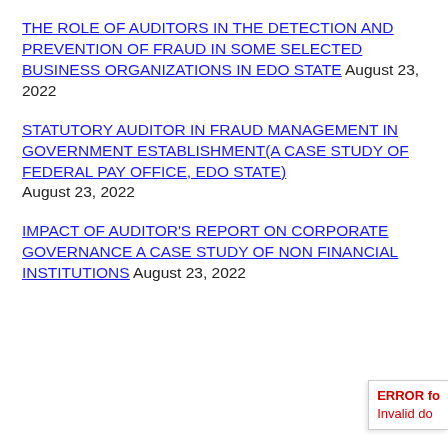THE ROLE OF AUDITORS IN THE DETECTION AND PREVENTION OF FRAUD IN SOME SELECTED BUSINESS ORGANIZATIONS IN EDO STATE August 23, 2022
STATUTORY AUDITOR IN FRAUD MANAGEMENT IN GOVERNMENT ESTABLISHMENT(A CASE STUDY OF FEDERAL PAY OFFICE, EDO STATE) August 23, 2022
IMPACT OF AUDITOR'S REPORT ON CORPORATE GOVERNANCE A CASE STUDY OF NON FINANCIAL INSTITUTIONS August 23, 2022